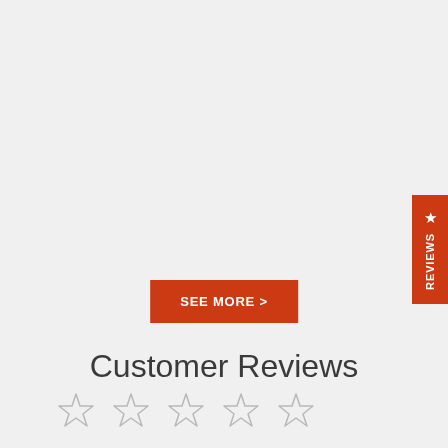[Figure (other): Orange 'REVIEWS' vertical tab button on the right edge with a star icon]
[Figure (other): Orange 'SEE MORE >' button centered on the page]
Customer Reviews
[Figure (other): Row of five empty star rating icons at the bottom of the page]